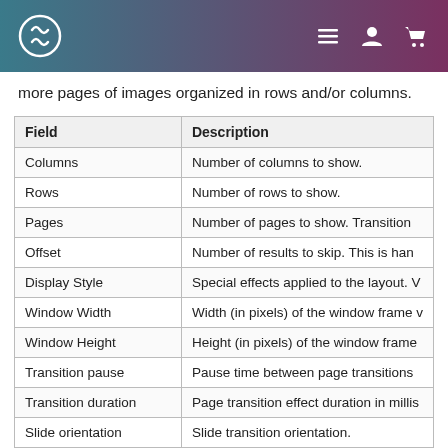[Navigation bar with logo and icons]
more pages of images organized in rows and/or columns.
| Field | Description |
| --- | --- |
| Columns | Number of columns to show. |
| Rows | Number of rows to show. |
| Pages | Number of pages to show. Transition |
| Offset | Number of results to skip. This is han |
| Display Style | Special effects applied to the layout. V |
| Window Width | Width (in pixels) of the window frame v |
| Window Height | Height (in pixels) of the window frame |
| Transition pause | Pause time between page transitions |
| Transition duration | Page transition effect duration in millis |
| Slide orientation | Slide transition orientation. |
| Transition type | Transition animation type. |